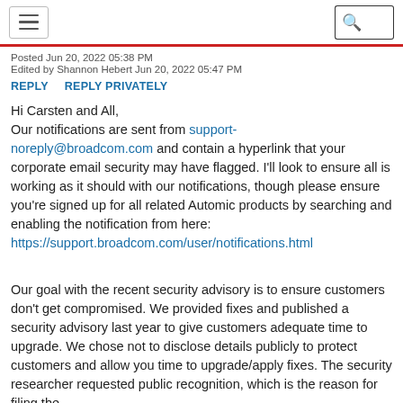hamburger menu | search
Posted Jun 20, 2022 05:38 PM
Edited by Shannon Hebert Jun 20, 2022 05:47 PM
REPLY   REPLY PRIVATELY
Hi Carsten and All,
Our notifications are sent from support-noreply@broadcom.com and contain a hyperlink that your corporate email security may have flagged. I'll look to ensure all is working as it should with our notifications, though please ensure you're signed up for all related Automic products by searching and enabling the notification from here:
https://support.broadcom.com/user/notifications.html

Our goal with the recent security advisory is to ensure customers don't get compromised. We provided fixes and published a security advisory last year to give customers adequate time to upgrade. We chose not to disclose details publicly to protect customers and allow you time to upgrade/apply fixes. The security researcher requested public recognition, which is the reason for filing the